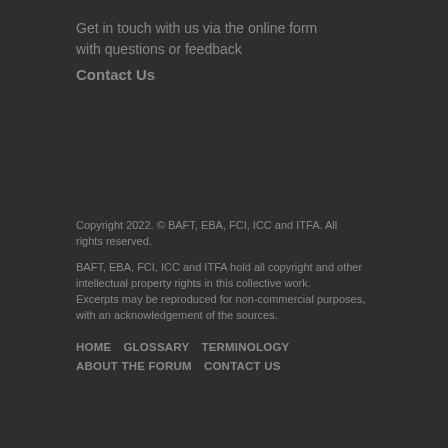Get in touch with us via the online form with questions or feedback
Contact Us
Copyright 2022. © BAFT, EBA, FCI, ICC and ITFA. All rights reserved.
BAFT, EBA, FCI, ICC and ITFA hold all copyright and other intellectual property rights in this collective work. Excerpts may be reproduced for non-commercial purposes, with an acknowledgement of the sources.
HOME    GLOSSARY    TERMINOLOGY    ABOUT THE FORUM    CONTACT US